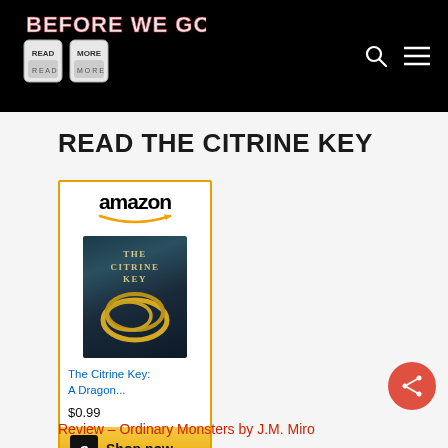[Figure (logo): Before We Go Blog logo — text 'BEFORE WE GO BLOG' in red/white on black header with illustration of tattooed fists reading 'READ MORE']
READ THE CITRINE KEY
[Figure (screenshot): Amazon product widget showing The Citrine Key: A Dragon... book cover, price $0.99, and Shop now button]
Review – Ordinary Monsters by J.M. Miro